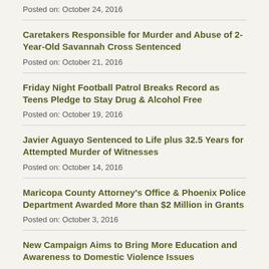Posted on: October 24, 2016
Caretakers Responsible for Murder and Abuse of 2-Year-Old Savannah Cross Sentenced
Posted on: October 21, 2016
Friday Night Football Patrol Breaks Record as Teens Pledge to Stay Drug & Alcohol Free
Posted on: October 19, 2016
Javier Aguayo Sentenced to Life plus 32.5 Years for Attempted Murder of Witnesses
Posted on: October 14, 2016
Maricopa County Attorney's Office & Phoenix Police Department Awarded More than $2 Million in Grants
Posted on: October 3, 2016
New Campaign Aims to Bring More Education and Awareness to Domestic Violence Issues
Posted on: September 30, 2016